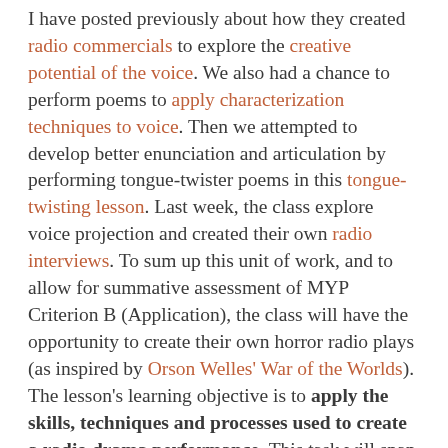I have posted previously about how they created radio commercials to explore the creative potential of the voice. We also had a chance to perform poems to apply characterization techniques to voice. Then we attempted to develop better enunciation and articulation by performing tongue-twister poems in this tongue-twisting lesson. Last week, the class explore voice projection and created their own radio interviews. To sum up this unit of work, and to allow for summative assessment of MYP Criterion B (Application), the class will have the opportunity to create their own horror radio plays (as inspired by Orson Welles' War of the Worlds). The lesson's learning objective is to apply the skills, techniques and processes used to create a radio drama performance. This task will span over two double-periods (one double-period per week). To start off the lesson, we did a quick 'one-sentence story with sound-effects' warmup, where students sit in a circle and each of them contributes a sentence to build a longer story, and each student also creates a sound...